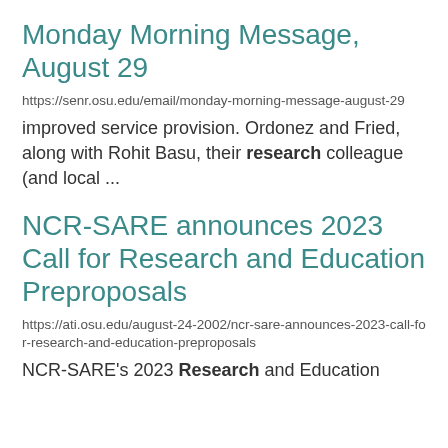Monday Morning Message, August 29
https://senr.osu.edu/email/monday-morning-message-august-29
improved service provision. Ordonez and Fried, along with Rohit Basu, their research colleague (and local ...
NCR-SARE announces 2023 Call for Research and Education Preproposals
https://ati.osu.edu/august-24-2002/ncr-sare-announces-2023-call-for-research-and-education-preproposals
NCR-SARE's 2023 Research and Education